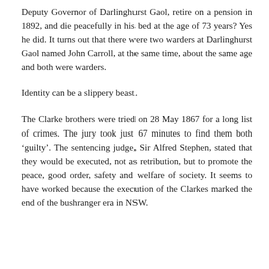Deputy Governor of Darlinghurst Gaol, retire on a pension in 1892, and die peacefully in his bed at the age of 73 years? Yes he did. It turns out that there were two warders at Darlinghurst Gaol named John Carroll, at the same time, about the same age and both were warders.
Identity can be a slippery beast.
The Clarke brothers were tried on 28 May 1867 for a long list of crimes. The jury took just 67 minutes to find them both ‘guilty’. The sentencing judge, Sir Alfred Stephen, stated that they would be executed, not as retribution, but to promote the peace, good order, safety and welfare of society. It seems to have worked because the execution of the Clarkes marked the end of the bushranger era in NSW.